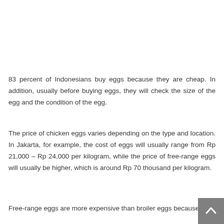83 percent of Indonesians buy eggs because they are cheap. In addition, usually before buying eggs, they will check the size of the egg and the condition of the egg.
The price of chicken eggs varies depending on the type and location. In Jakarta, for example, the cost of eggs will usually range from Rp 21,000 – Rp 24,000 per kilogram, while the price of free-range eggs will usually be higher, which is around Rp 70 thousand per kilogram.
Free-range eggs are more expensive than broiler eggs because